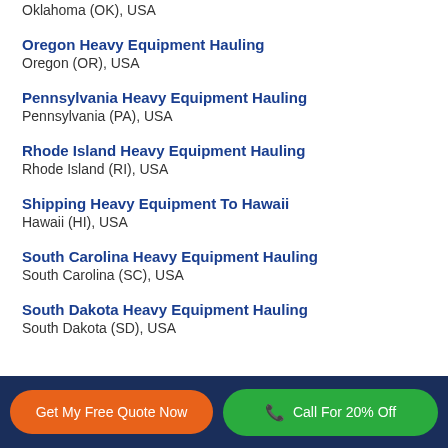Oklahoma (OK), USA
Oregon Heavy Equipment Hauling
Oregon (OR), USA
Pennsylvania Heavy Equipment Hauling
Pennsylvania (PA), USA
Rhode Island Heavy Equipment Hauling
Rhode Island (RI), USA
Shipping Heavy Equipment To Hawaii
Hawaii (HI), USA
South Carolina Heavy Equipment Hauling
South Carolina (SC), USA
South Dakota Heavy Equipment Hauling
South Dakota (SD), USA
Get My Free Quote Now | Call For 20% Off